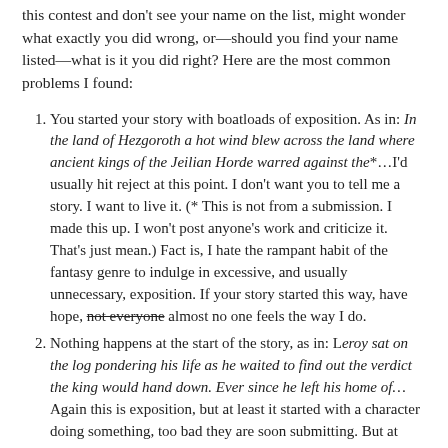this contest and don't see your name on the list, might wonder what exactly you did wrong, or—should you find your name listed—what is it you did right? Here are the most common problems I found:
You started your story with boatloads of exposition. As in: In the land of Hezgoroth a hot wind blew across the land where ancient kings of the Jeilian Horde warred against the*…I'd usually hit reject at this point. I don't want you to tell me a story. I want to live it. (* This is not from a submission. I made this up. I won't post anyone's work and criticize it. That's just mean.) Fact is, I hate the rampant habit of the fantasy genre to indulge in excessive, and usually unnecessary, exposition. If your story started this way, have hope, not everyone almost no one feels the way I do.
Nothing happens at the start of the story, as in: Leroy sat on the log pondering his life as he waited to find out the verdict the king would hand down. Ever since he left his home of… Again this is exposition, but at least it started with a character doing something, too bad they are soon submitting. But at least started the story with